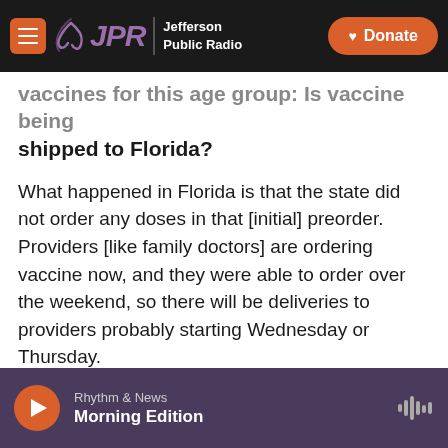JPR Jefferson Public Radio | Donate
vaccines for this age group: Is vaccine being shipped to Florida?
What happened in Florida is that the state did not order any doses in that [initial] preorder. Providers [like family doctors] are ordering vaccine now, and they were able to order over the weekend, so there will be deliveries to providers probably starting Wednesday or Thursday.
So providers are ordering the vaccine, it is being delivered to them. The retail pharmacies were able to pre-order it, so some of them have it [already].
Rhythm & News — Morning Edition